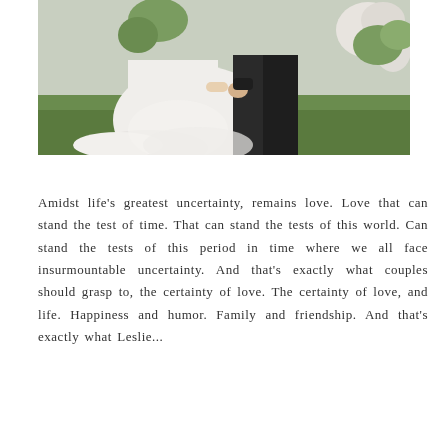[Figure (photo): Wedding photo showing a bride in a white dress and groom in a black suit holding hands on a grass lawn with floral greenery decorations in the background. Only the lower portions of the couple's bodies are visible.]
Amidst life's greatest uncertainty, remains love. Love that can stand the test of time. That can stand the tests of this world. Can stand the tests of this period in time where we all face insurmountable uncertainty. And that's exactly what couples should grasp to, the certainty of love. The certainty of love, and life. Happiness and humor. Family and friendship. And that's exactly what Leslie...